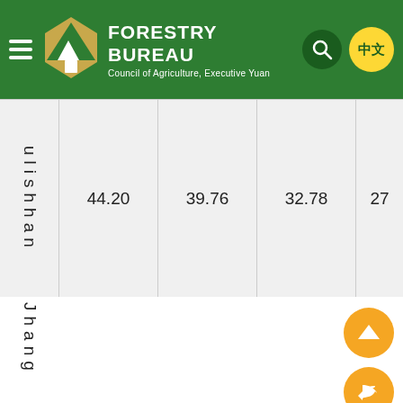[Figure (screenshot): Forestry Bureau website header with logo, title, search and language buttons]
|  |  |  |  |  |
| --- | --- | --- | --- | --- |
| ulishhan | 44.20 | 39.76 | 32.78 | 27 |
Jhang
[Figure (other): Orange circular up-arrow navigation button]
[Figure (other): Orange circular back/reply arrow navigation button]